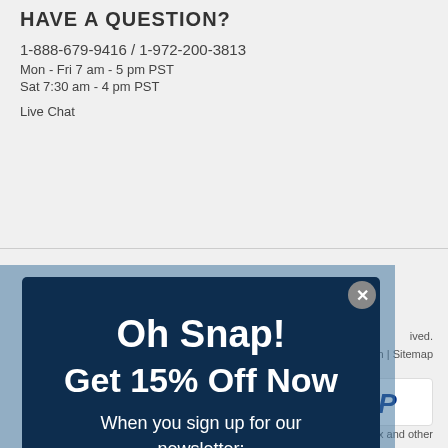HAVE A QUESTION?
1-888-679-9416 / 1-972-200-3813
Mon - Fri 7 am - 5 pm PST
Sat 7:30 am - 4 pm PST
Live Chat
[Figure (screenshot): Modal popup overlay with dark navy background. Title: 'Oh Snap! Get 15% Off Now'. Subtitle: 'When you sign up for our newsletter:'. Email input field with placeholder 'Enter your email address'. Blue button labeled 'GET MY 15% OFF'. Fine print: 'Minimum purchase required of $29 or more.' Close button (X) in top-right corner.]
ived.
tion | Sitemap
[Figure (logo): PayPal logo - blue P letter in white box]
Xerox and other